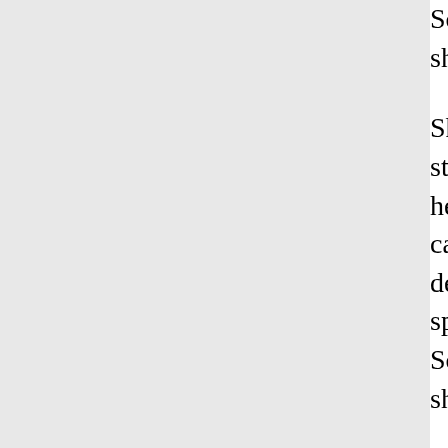Scarlett saw with infamous surprise the black when she went to Atlanta a few m
She thanked God tiredly that she had c now she could stand erect and dry eye back of her shoulder, irritated her unbe fists to keep from turning and slapping t cause of her father's death, whether sh have the decency to control herself in fr single person had spoken to her that m sympathy. They had kissed Scarlett qu kind words to Carreen and even to Por if she were not there.
To them she had done worse than mur betray him into disloyalty to the South. A community it was as if she had tried to l had broken the solid front the County p attempt to get money from the Yankee g with Carpetbaggers and Scallawags, m soldiers had ever been. She, a membe Confederate family, a planter's family, h